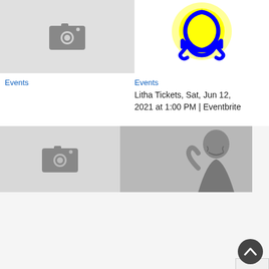[Figure (photo): Gray placeholder image with camera icon on the left]
[Figure (illustration): Yellow omega/lightbulb symbol with blue outline on white background]
Events
Events
Litha Tickets, Sat, Jun 12, 2021 at 1:00 PM | Eventbrite
[Figure (photo): Wide image with camera placeholder on left and black and white photo of laughing person on right]
Manage Cookie Consent
We use cookies to optimize our website and our service.
Accept